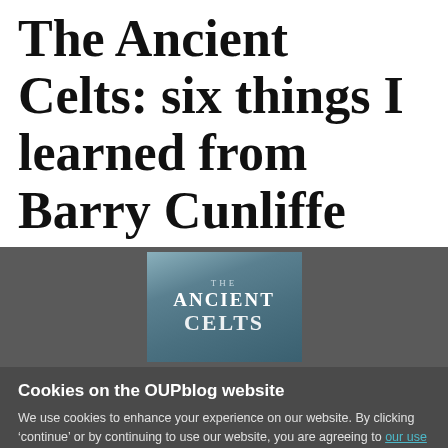The Ancient Celts: six things I learned from Barry Cunliffe
[Figure (photo): Book cover of 'The Ancient Celts' by Barry Cunliffe, shown against a dark grey background. The cover features a blue-grey textured design with the title text in white.]
Cookies on the OUPblog website
We use cookies to enhance your experience on our website. By clicking ‘continue’ or by continuing to use our website, you are agreeing to our use of cookies. You can change your cookie settings at any time.
Continue